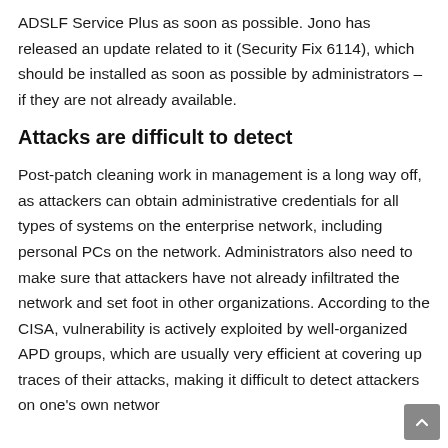ADSLF Service Plus as soon as possible. Jono has released an update related to it (Security Fix 6114), which should be installed as soon as possible by administrators – if they are not already available.
Attacks are difficult to detect
Post-patch cleaning work in management is a long way off, as attackers can obtain administrative credentials for all types of systems on the enterprise network, including personal PCs on the network. Administrators also need to make sure that attackers have not already infiltrated the network and set foot in other organizations. According to the CISA, vulnerability is actively exploited by well-organized APD groups, which are usually very efficient at covering up traces of their attacks, making it difficult to detect attackers on one's own networ